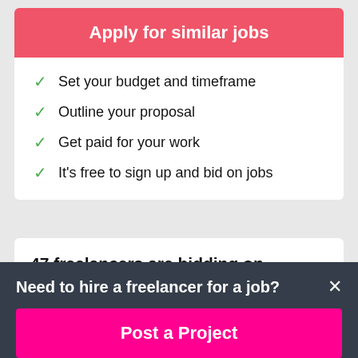Apply for similar jobs
Set your budget and timeframe
Outline your proposal
Get paid for your work
It's free to sign up and bid on jobs
47 freelancers are bidding on average $43/hour for this job
Need to hire a freelancer for a job?
Post a Project